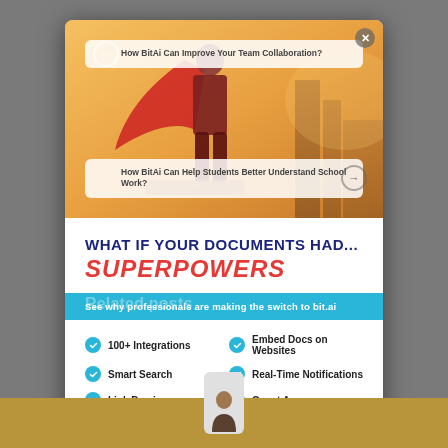[Figure (screenshot): Modal/popup overlay on a webpage showing a superhero child with red cape in background image, with two navigation cards, and a promotional section below]
WHAT IF YOUR DOCUMENTS HAD...
SUPERPOWERS
See why professionals are making the switch to bit.ai
100+ Integrations
Embed Docs on Websites
Smart Search
Real-Time Notifications
Link Previews
Guest Access